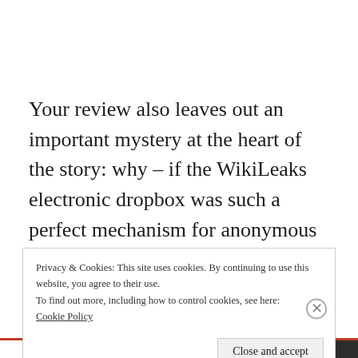Your review also leaves out an important mystery at the heart of the story: why – if the WikiLeaks electronic dropbox was such a perfect mechanism for anonymous leaking – did Bradley Manning reach out to Adrian Lamo?   It seems clear that Manning needed
Privacy & Cookies: This site uses cookies. By continuing to use this website, you agree to their use.
To find out more, including how to control cookies, see here:
Cookie Policy